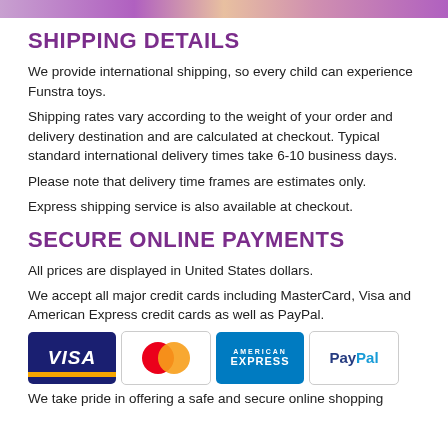[Figure (illustration): Top banner image with colorful toy product images]
SHIPPING DETAILS
We provide international shipping, so every child can experience Funstra toys.
Shipping rates vary according to the weight of your order and delivery destination and are calculated at checkout. Typical standard international delivery times take 6-10 business days.
Please note that delivery time frames are estimates only.
Express shipping service is also available at checkout.
SECURE ONLINE PAYMENTS
All prices are displayed in United States dollars.
We accept all major credit cards including MasterCard, Visa and American Express credit cards as well as PayPal.
[Figure (illustration): Payment method icons: Visa, MasterCard, American Express, PayPal]
We take pride in offering a safe and secure online shopping